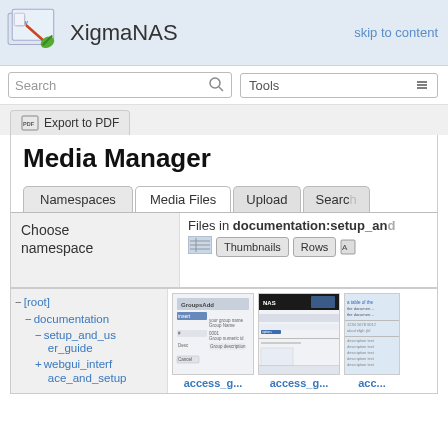XigmaNAS — skip to content
Search | Tools
Export to PDF
Media Manager
Namespaces | Media Files | Upload | Search
Choose namespace
Files in documentation:setup_and…
Thumbnails | Rows
- [root]
- documentation
- setup_and_us er_guide
+ webgui_interf ace_and_setup
[Figure (screenshot): Thumbnail of access_g... file showing GroupsAdd form]
access_g...
[Figure (screenshot): Thumbnail of access_g... file showing dark header]
access_g...
[Figure (screenshot): Thumbnail of acc... file (partial)]
acc...